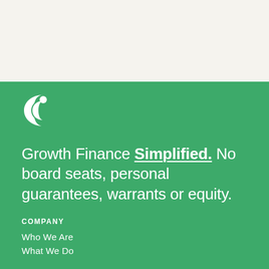[Figure (logo): White circular logo icon resembling concentric arcs or a stylized letter E on green background]
Growth Finance Simplified. No board seats, personal guarantees, warrants or equity.
COMPANY
Who We Are
What We Do